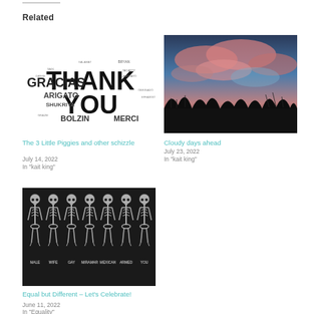Related
[Figure (illustration): Word cloud with 'THANK YOU' prominently in the center, surrounded by words like GRACIAS, ARIGATO, SHUKRIYA, MERCI, BOLZIN in various sizes, black and white]
The 3 Little Piggies and other schizzle
July 14, 2022
In "kait king"
[Figure (photo): Photo of a cloudy sunset sky with pink and blue clouds and dark tree silhouettes at the bottom]
Cloudy days ahead
July 23, 2022
In "kait king"
[Figure (photo): Dark background image showing multiple skeleton figures standing in a row with labels below each one]
Equal but Different – Let's Celebrate!
June 11, 2022
In "Equality"